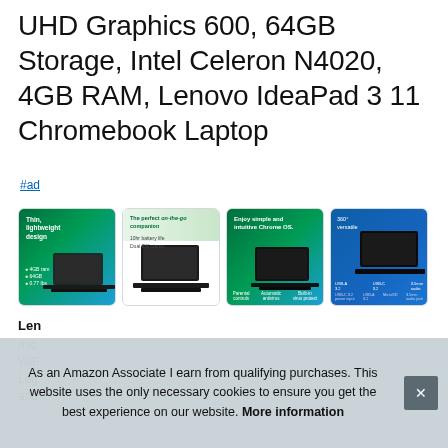UHD Graphics 600, 64GB Storage, Intel Celeron N4020, 4GB RAM, Lenovo IdeaPad 3 11 Chromebook Laptop
#ad
[Figure (photo): Four product thumbnail images of the Lenovo IdeaPad 3 Chromebook Laptop showing the device from different angles with marketing text overlays]
Len...
mic...
WiF...
Log...
and...
As an Amazon Associate I earn from qualifying purchases. This website uses the only necessary cookies to ensure you get the best experience on our website. More information